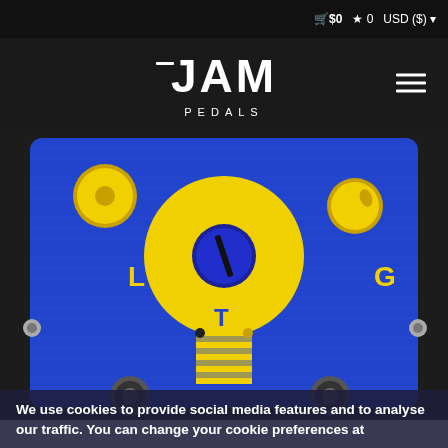🛒 $0  ★ 0  USD ($)
JAM PEDALS
[Figure (photo): Top-down view of a JAM Pedals guitar effects pedal with a blue brushed metal enclosure. The yellow lightbulb graphic is painted on top, with letters L, T, and G visible. There are two yellow knobs (top-left and top-right), one blue knob in the center, two small LED indicators, two footswitches at the bottom, and audio jacks on the sides.]
We use cookies to provide social media features and to analyse our traffic. You can change your cookie preferences at